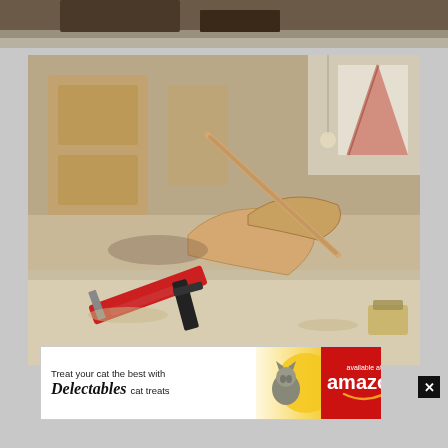[Figure (photo): Top partial photo showing what appears to be a dark wooden surface or furniture leg against a light floor]
[Figure (photo): Workshop photo showing a wooden model airplane or glider being assembled with a red clamp on a workbench. The airplane has plywood wings and a thin wooden dowel fuselage. Workshop tools and wooden cabinets are visible in the blurred background.]
[Figure (photo): Advertisement banner: 'Treat your cat the best with Delectables cat treats - available at amazon']